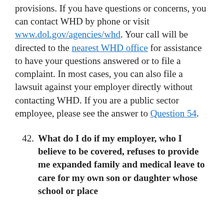provisions. If you have questions or concerns, you can contact WHD by phone or visit www.dol.gov/agencies/whd. Your call will be directed to the nearest WHD office for assistance to have your questions answered or to file a complaint. In most cases, you can also file a lawsuit against your employer directly without contacting WHD. If you are a public sector employee, please see the answer to Question 54.
42. What do I do if my employer, who I believe to be covered, refuses to provide me expanded family and medical leave to care for my own son or daughter whose school or place